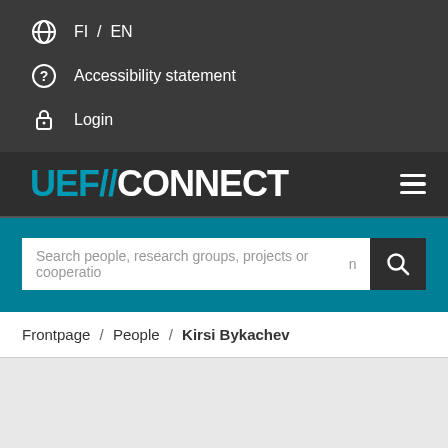FI / EN
Accessibility statement
Login
UEF//CONNECT
[Figure (screenshot): Search input bar with placeholder text: Search people, research groups, projects or cooperation]
Frontpage / People / Kirsi Bykachev